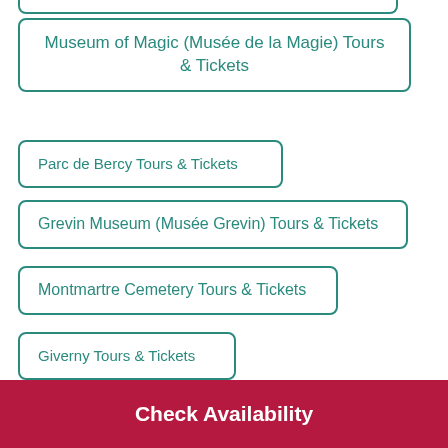Museum of Magic (Musée de la Magie) Tours & Tickets
Parc de Bercy Tours & Tickets
Grevin Museum (Musée Grevin) Tours & Tickets
Montmartre Cemetery Tours & Tickets
Giverny Tours & Tickets
7th Arrondissement Tours & Tickets
Pigalle Tours & Tickets
Check Availability